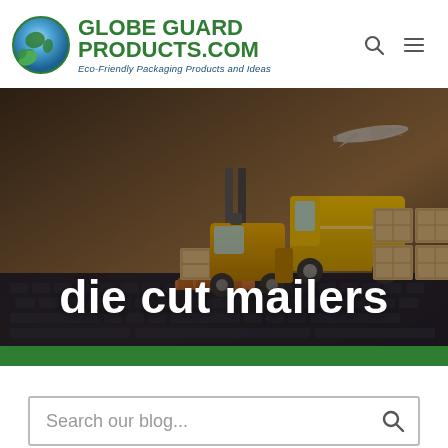Globe Guard Products.com — Eco-Friendly Packaging Products and Ideas
[Figure (photo): Hero image showing toy/miniature logistics scene: yellow forklift carrying cardboard boxes on a pallet, yellow delivery van loaded with stacked boxes, airplane in background, all placed on a laptop keyboard. Overlaid with bold white text 'die cut mailers'.]
die cut mailers
Search our blog...